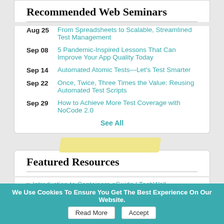Recommended Web Seminars
Aug 25 — From Spreadsheets to Scalable, Streamlined Test Management
Sep 08 — 5 Pandemic-Inspired Lessons That Can Improve Your App Quality Today
Sep 14 — Automated Atomic Tests—Let's Test Smarter
Sep 22 — Once, Twice, Three Times the Value: Reusing Automated Test Scripts
Sep 29 — How to Achieve More Test Coverage with NoCode 2.0
See All
Featured Resources
» Introduction to Containers eGuide | TechWell
» 2022 Test Coverage Guide | Perforce
» Cutting Through The Noise: End The Battle Between Security and Development | Wabbi
We Use Cookies To Ensure You Get The Best Experience On Our Website. Read More Accept